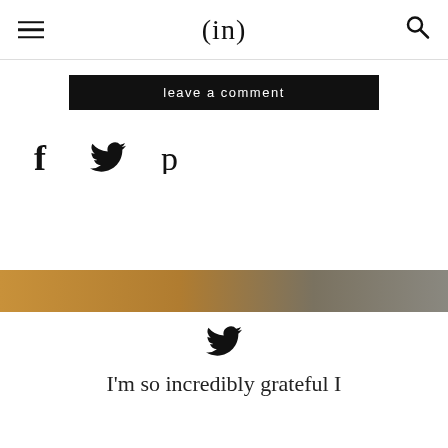(in)
leave a comment
[Figure (infographic): Social share icons: Facebook (f), Twitter bird, Pinterest (p)]
[Figure (photo): Partial photo strip showing wood texture and grey tones]
[Figure (infographic): Twitter bird icon centered]
I'm so incredibly grateful I